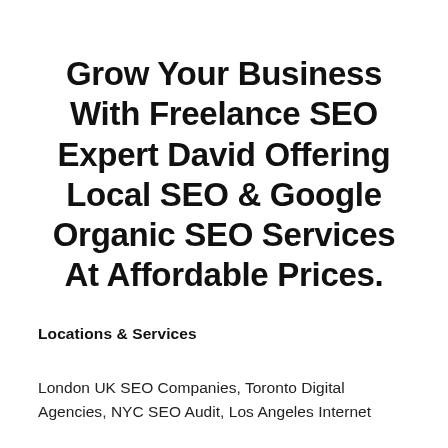Grow Your Business With Freelance SEO Expert David Offering Local SEO & Google Organic SEO Services At Affordable Prices.
Locations & Services
London UK SEO Companies, Toronto Digital Agencies, NYC SEO Audit, Los Angeles Internet